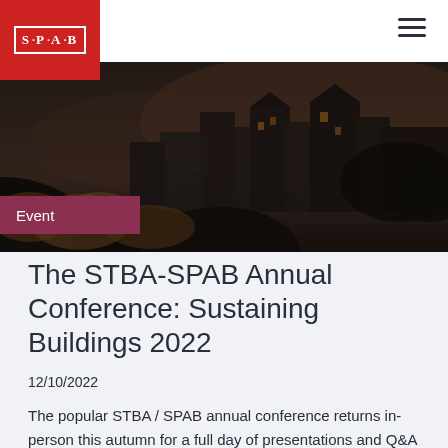[Figure (logo): SPAB red logo with white border and dot-separated letters S·P·A·B]
[Figure (photo): Aerial/elevated photo of rooftops and trees in a town, dark moody tones with warm autumn colors]
Event
The STBA-SPAB Annual Conference: Sustaining Buildings 2022
12/10/2022
The popular STBA / SPAB annual conference returns in-person this autumn for a full day of presentations and Q&A sessions by UK experts in the field. This year